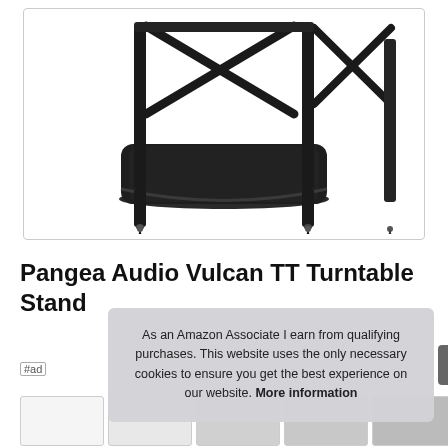[Figure (photo): Pangea Audio Vulcan TT Turntable Stand product photo – a black metal stand with X-cross support bars and a lower shelf, shown on white background]
Pangea Audio Vulcan TT Turntable Stand
#ad
As an Amazon Associate I earn from qualifying purchases. This website uses the only necessary cookies to ensure you get the best experience on our website. More information
[Figure (photo): Thumbnail strip of product images at the bottom of the page]